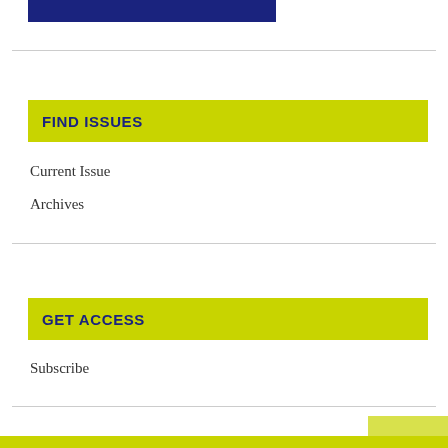[Figure (other): Dark navy blue rectangular bar at the top of the page]
FIND ISSUES
Current Issue
Archives
GET ACCESS
Subscribe